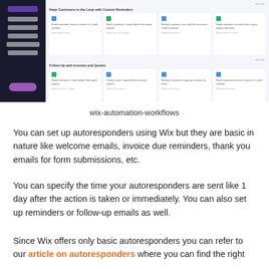[Figure (screenshot): Screenshot of Wix automation workflows interface showing a dark sidebar with menu items (Automations, Form Submissions, Workflows, Tasks & Reminders, Site Members) and main content area displaying automation cards for 'Keep Customers in the Loop with Custom Reminders' and 'Follow Up with Invoices and Quotes' sections with various email and reminder automation options.]
wix-automation-workflows
You can set up autoresponders using Wix but they are basic in nature like welcome emails, invoice due reminders, thank you emails for form submissions, etc.
You can specify the time your autoresponders are sent like 1 day after the action is taken or immediately. You can also set up reminders or follow-up emails as well.
Since Wix offers only basic autoresponders you can refer to our article on autoresponders where you can find the right